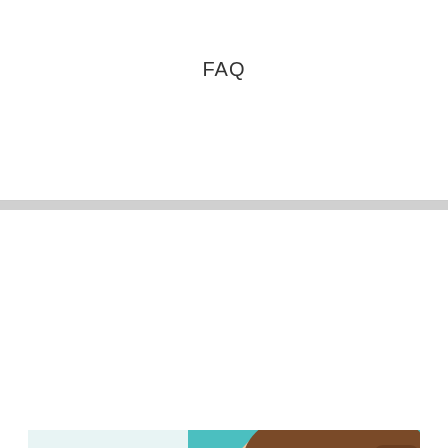FAQ
[Figure (photo): A young woman in a dental chair wearing large red protective glasses, with her mouth open while a dentist in blue gloves applies a UV/blue light dental tool inside her mouth. The chair is teal, she wears a white dental bib.]
SCHEDULE
Technology